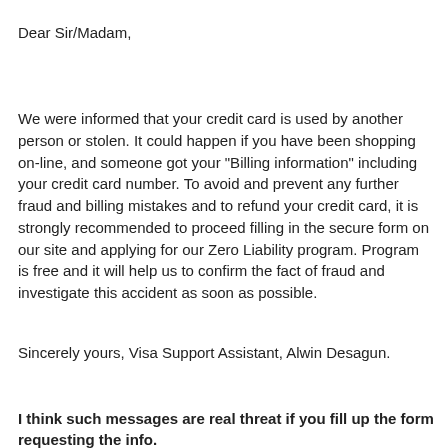Dear Sir/Madam,
We were informed that your credit card is used by another person or stolen. It could happen if you have been shopping on-line, and someone got your "Billing information" including your credit card number. To avoid and prevent any further fraud and billing mistakes and to refund your credit card, it is strongly recommended to proceed filling in the secure form on our site and applying for our Zero Liability program. Program is free and it will help us to confirm the fact of fraud and investigate this accident as soon as possible.
Sincerely yours, Visa Support Assistant, Alwin Desagun.
I think such messages are real threat if you fill up the form requesting the info.